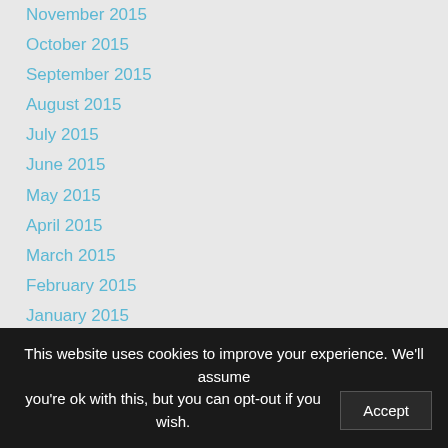November 2015
October 2015
September 2015
August 2015
July 2015
June 2015
May 2015
April 2015
March 2015
February 2015
January 2015
December 2014
November 2014
October 2014
September 2014
August 2014
July 2014
June 2014
This website uses cookies to improve your experience. We'll assume you're ok with this, but you can opt-out if you wish.